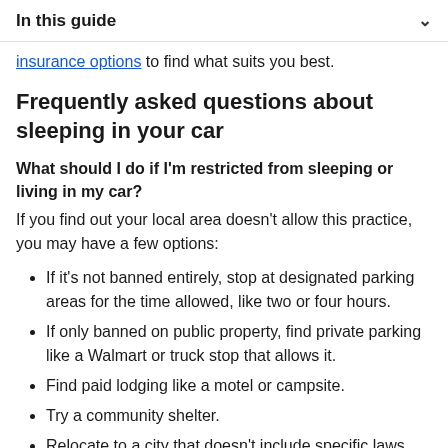In this guide
insurance options to find what suits you best.
Frequently asked questions about sleeping in your car
What should I do if I'm restricted from sleeping or living in my car?
If you find out your local area doesn't allow this practice, you may have a few options:
If it's not banned entirely, stop at designated parking areas for the time allowed, like two or four hours.
If only banned on public property, find private parking like a Walmart or truck stop that allows it.
Find paid lodging like a motel or campsite.
Try a community shelter.
Relocate to a city that doesn't include specific laws